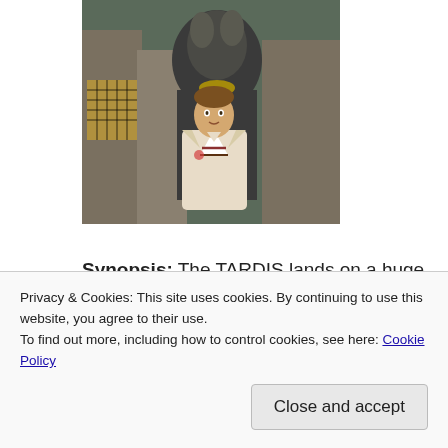[Figure (photo): A TV show promotional image showing a man in a cream/beige cricket-style jacket with red and brown V-neck stripes, standing in front of a larger alien or monster figure in a dark costume. Urban street scene in background.]
Synopsis: The TARDIS lands on a huge spaceship heading towards Earth. The inhabitants appear to come from different periods in Earth's history, providing entertainment for three amphibious
Privacy & Cookies: This site uses cookies. By continuing to use this website, you agree to their use.
To find out more, including how to control cookies, see here: Cookie Policy
Close and accept